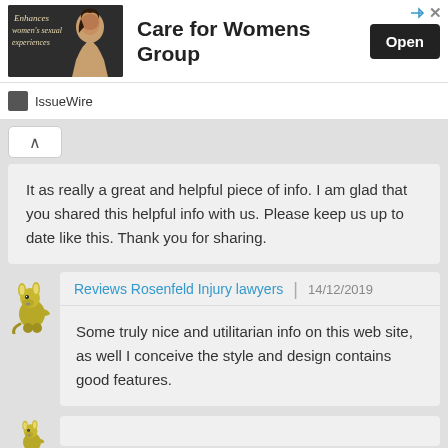[Figure (infographic): Advertisement banner for 'Care for Womens Group' with a woman's photo on dark background, bold headline text, and an 'Open' button. IssueWire source label below.]
It as really a great and helpful piece of info. I am glad that you shared this helpful info with us. Please keep us up to date like this. Thank you for sharing.
Reviews Rosenfeld Injury lawyers | 14/12/2019
Some truly nice and utilitarian info on this web site, as well I conceive the style and design contains good features.